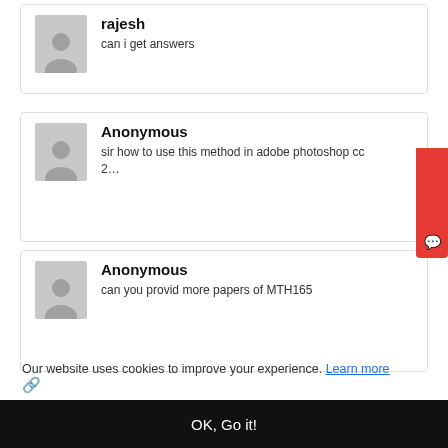rajesh
can i get answers
Anonymous
sir how to use this method in adobe photoshop cc 2…
Anonymous
can you provid more papers of MTH165
Our website uses cookies to improve your experience. Learn more
OK, Go it!